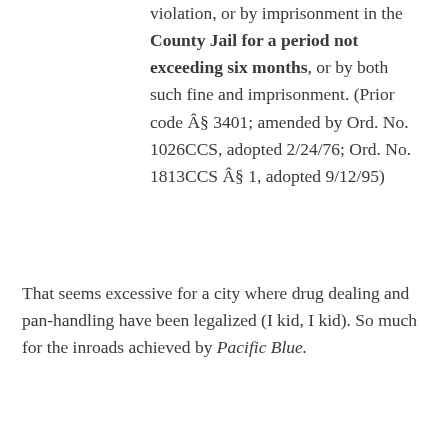violation, or by imprisonment in the County Jail for a period not exceeding six months, or by both such fine and imprisonment. (Prior code § 3401; amended by Ord. No. 1026CCS, adopted 2/24/76; Ord. No. 1813CCS § 1, adopted 9/12/95)
That seems excessive for a city where drug dealing and pan-handling have been legalized (I kid, I kid). So much for the inroads achieved by Pacific Blue.